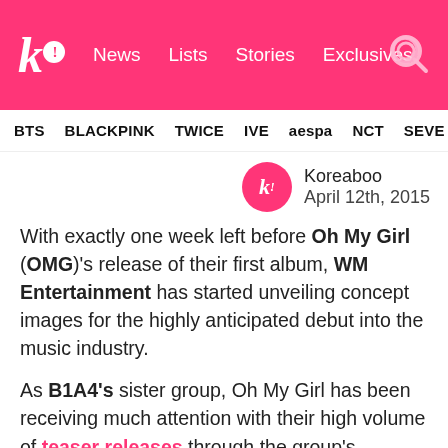k! News Lists Stories Exclusives
BTS BLACKPINK TWICE IVE aespa NCT SEVE
Koreaboo April 12th, 2015
With exactly one week left before Oh My Girl (OMG)'s release of their first album, WM Entertainment has started unveiling concept images for the highly anticipated debut into the music industry.
As B1A4's sister group, Oh My Girl has been receiving much attention with their high volume of teaser releases through the group's Instagram account ahead of their debut. With their debut date confirmed, the eight members